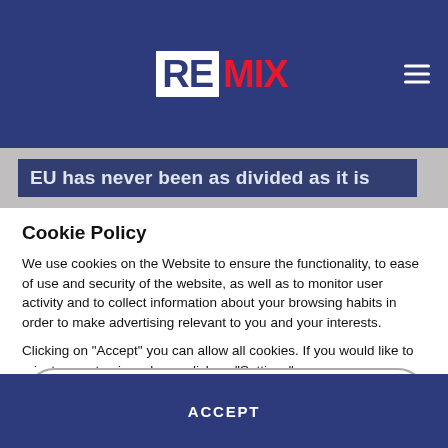[Figure (logo): REMIX logo — RE in white box, MIX in red, on dark blue header bar with hamburger menu icon]
EU has never been as divided as it is
Cookie Policy
We use cookies on the Website to ensure the functionality, to ease of use and security of the website, as well as to monitor user activity and to collect information about your browsing habits in order to make advertising relevant to you and your interests.
Clicking on "Accept" you can allow all cookies. If you would like to reject or customize, please click on "Settings".
Read more: Cookie Policy
SETTINGS
ACCEPT